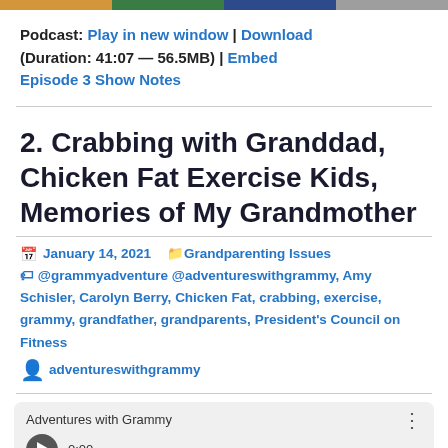[Figure (other): Colored bar with four segments: gold, green, dark blue, gray]
Podcast: Play in new window | Download (Duration: 41:07 — 56.5MB) | Embed
Episode 3 Show Notes
2. Crabbing with Granddad, Chicken Fat Exercise Kids, Memories of My Grandmother
January 14, 2021   Grandparenting Issues
@grammyadventure @adventureswithgrammy, Amy Schisler, Carolyn Berry, Chicken Fat, crabbing, exercise, grammy, grandfather, grandparents, President's Council on Fitness   adventureswithgrammy
Adventures with Grammy
0:00